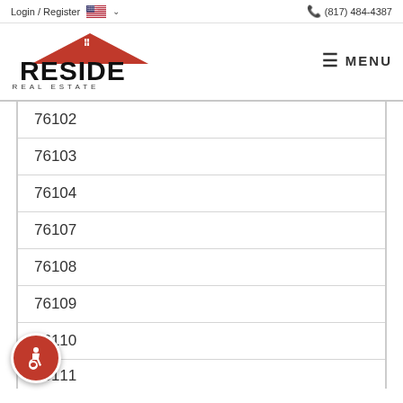Login / Register  (817) 484-4387
[Figure (logo): Reside Real Estate logo with red house roof and black text]
76102
76103
76104
76107
76108
76109
76110
76111
[Figure (illustration): Red circular accessibility icon button in bottom-left corner]